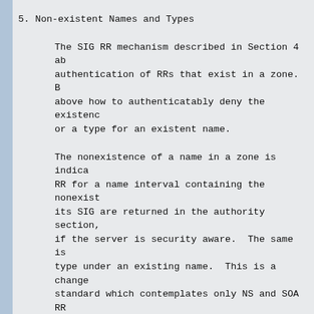5. Non-existent Names and Types
The SIG RR mechanism described in Section 4 ab authentication of RRs that exist in a zone. B above how to authenticatably deny the existenc or a type for an existent name.
The nonexistence of a name in a zone is indica RR for a name interval containing the nonexist its SIG are returned in the authority section, if the server is security aware.  The same is type under an existing name.  This is a change standard which contemplates only NS and SOA RR section. NXT RRs will also be returned if an e for the NXT type.
The existence of a complete set of NXT records any query for any name and any type to a secu serving the zone will always result in an rep one signed RR.
NXT RRs do not appear in zone master files si